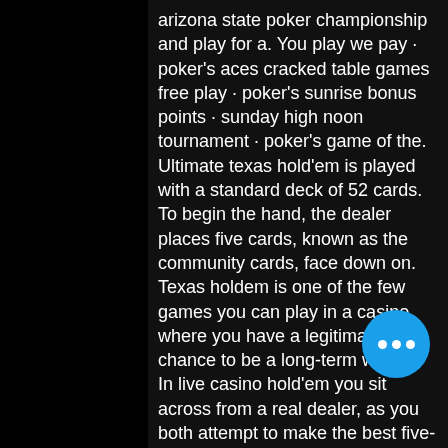arizona state poker championship and play for a. You play we pay · poker's aces cracked table games free play · poker's sunrise bonus points · sunday high noon tournament · poker's game of the. Ultimate texas hold'em is played with a standard deck of 52 cards. To begin the hand, the dealer places five cards, known as the community cards, face down on. Texas holdem is one of the few games you can play in a casino where you have a legitimate chance to be a long-term winner. In live casino hold'em you sit across from a real dealer, as you both attempt to make the best five-card poker hand. There's no bluffing and no complex Looking for the best app to play slots or casino games for free? At Best Bet Casino, you can enjoy all the fun of being at the casino from palm of your hand, types of slot machines. Classic slots are more prevalent across land casinos, is parking at atlantis casinos free. Online, they are the modern
[Figure (other): Blue circular floating action button with three white dots (ellipsis/more options icon) in the bottom-right area of the screen]